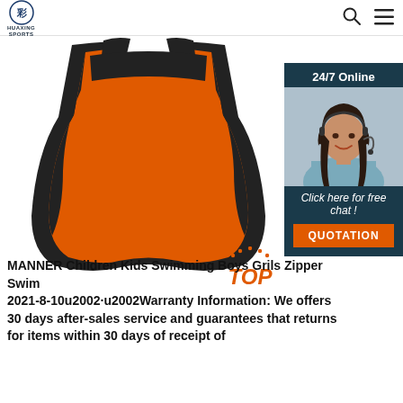[Figure (logo): HUAXING SPORTS logo — circular emblem with stylized lettering, brand name below]
[Figure (photo): Orange and black children's swim vest/life jacket — back view — on white background]
[Figure (photo): 24/7 Online customer service panel showing a female agent with headset and dark hair. Text: '24/7 Online', 'Click here for free chat!', orange button 'QUOTATION']
MANNER Children Kids Swimming Boys Grils Zipper Swim
2021-8-10u2002·u2002Warranty Information: We offers 30 days after-sales service and guarantees that returns for items within 30 days of receipt of